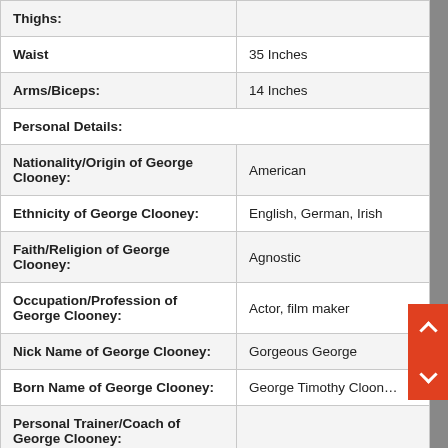| Attribute | Value |
| --- | --- |
| Thighs: |  |
| Waist | 35 Inches |
| Arms/Biceps: | 14 Inches |
| Personal Details: |  |
| Nationality/Origin of George Clooney: | American |
| Ethnicity of George Clooney: | English, German, Irish |
| Faith/Religion of George Clooney: | Agnostic |
| Occupation/Profession of George Clooney: | Actor, film maker |
| Nick Name of George Clooney: | Gorgeous George |
| Born Name of George Clooney: | George Timothy Clooney |
| Personal Trainer/Coach of George Clooney: |  |